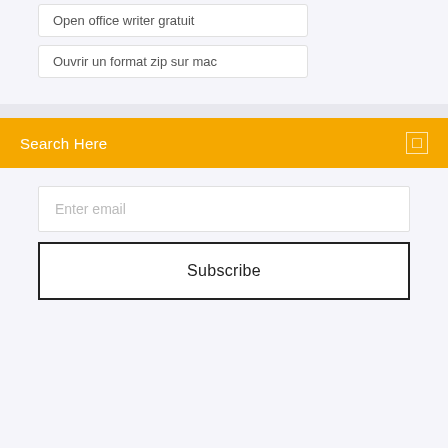Open office writer gratuit
Ouvrir un format zip sur mac
Search Here
Enter email
Subscribe